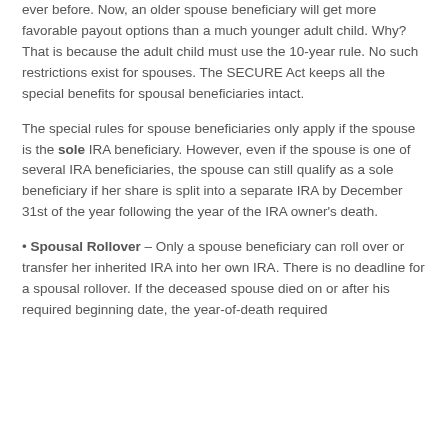ever before. Now, an older spouse beneficiary will get more favorable payout options than a much younger adult child. Why? That is because the adult child must use the 10-year rule. No such restrictions exist for spouses. The SECURE Act keeps all the special benefits for spousal beneficiaries intact.
The special rules for spouse beneficiaries only apply if the spouse is the sole IRA beneficiary. However, even if the spouse is one of several IRA beneficiaries, the spouse can still qualify as a sole beneficiary if her share is split into a separate IRA by December 31st of the year following the year of the IRA owner's death.
Spousal Rollover – Only a spouse beneficiary can roll over or transfer her inherited IRA into her own IRA. There is no deadline for a spousal rollover. If the deceased spouse died on or after his required beginning date, the year-of-death required